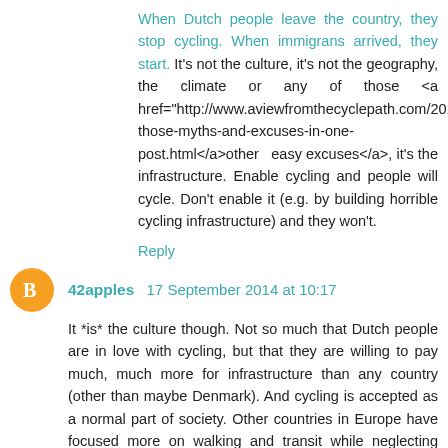When Dutch people leave the country, they stop cycling. When immigrans arrived, they start. It's not the culture, it's not the geography, the climate or any of those <a href="http://www.aviewfromthecyclepath.com/2011/02/all-those-myths-and-excuses-in-one-post.html</a>other easy excuses</a>, it's the infrastructure. Enable cycling and people will cycle. Don't enable it (e.g. by building horrible cycling infrastructure) and they won't.
Reply
42apples  17 September 2014 at 10:17
It *is* the culture though. Not so much that Dutch people are in love with cycling, but that they are willing to pay much, much more for infrastructure than any country (other than maybe Denmark). And cycling is accepted as a normal part of society. Other countries in Europe have focused more on walking and transit while neglecting investments and promotion of bicycle transportation.
I go to school in Davis, which maintains a relatively high